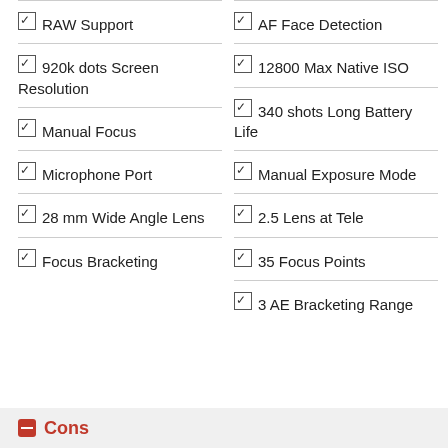RAW Support
920k dots Screen Resolution
Manual Focus
Microphone Port
28 mm Wide Angle Lens
Focus Bracketing
AF Face Detection
12800 Max Native ISO
340 shots Long Battery Life
Manual Exposure Mode
2.5 Lens at Tele
35 Focus Points
3 AE Bracketing Range
Cons